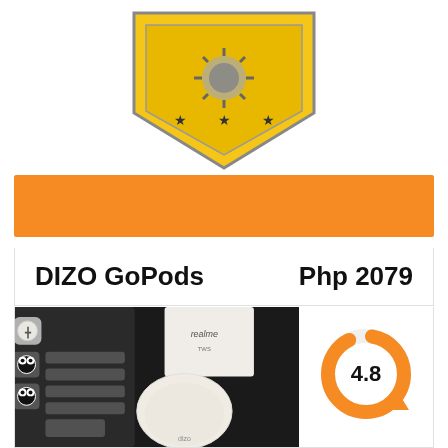[Figure (logo): Philippine-style shield/badge logo in gold/yellow with a sunburst and three stars, diamond/chevron shape]
[Figure (other): Orange banner/bar background]
DIZO GoPods
Php 2079
[Figure (photo): Photo of DIZO GoPods earbuds case (cream/beige colored) on a dark surface next to a mechanical keyboard with panda keycaps and a realme box]
[Figure (donut-chart): Orange donut/ring chart showing rating 4.8 with an upward triangle icon]